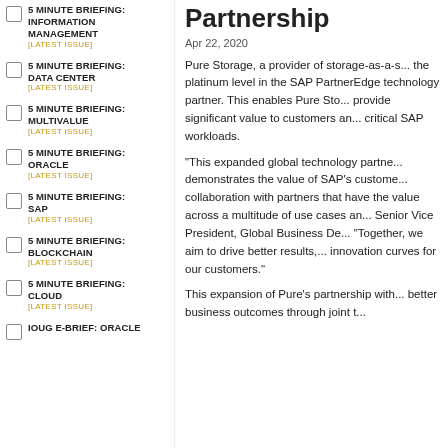5 MINUTE BRIEFING: INFORMATION MANAGEMENT [LATEST ISSUE]
5 MINUTE BRIEFING: DATA CENTER [LATEST ISSUE]
5 MINUTE BRIEFING: MULTIVALUE [LATEST ISSUE]
5 MINUTE BRIEFING: ORACLE [LATEST ISSUE]
5 MINUTE BRIEFING: SAP [LATEST ISSUE]
5 MINUTE BRIEFING: BLOCKCHAIN [LATEST ISSUE]
5 MINUTE BRIEFING: CLOUD [LATEST ISSUE]
IOUG E-BRIEF: ORACLE
Partnership
Apr 22, 2020
Pure Storage, a provider of storage-as-a-s... the platinum level in the SAP PartnerEdge... technology partner. This enables Pure Sto... provide significant value to customers an... critical SAP workloads.
"This expanded global technology partne... demonstrates the value of SAP's custome... collaboration with partners that have the... value across a multitude of use cases an... Senior Vice President, Global Business De... "Together, we aim to drive better results,... innovation curves for our customers."
This expansion of Pure's partnership with... better business outcomes through joint t...